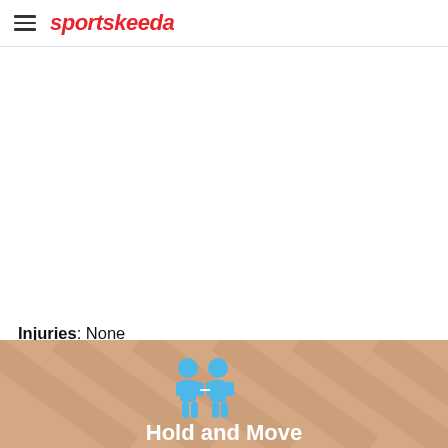sportskeeda
[Figure (other): Blank white image area]
Injuries: None
Doubtful: Eduardo Villanueva, Daniel Gutiérrez, Dilan Portilla, Jean Cruz, Jordhy Thompson
[Figure (other): Advertisement banner showing Hold and Move app with blue cartoon figures on striped background]